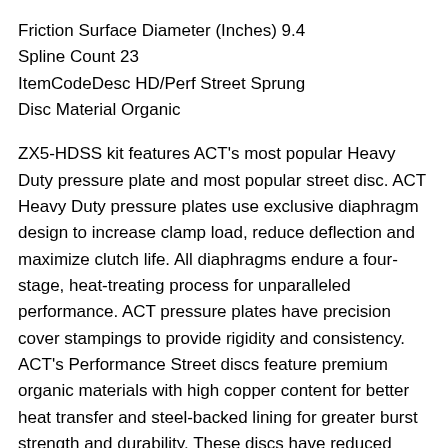Friction Surface Diameter (Inches) 9.4
Spline Count 23
ItemCodeDesc HD/Perf Street Sprung
Disc Material Organic
ZX5-HDSS kit features ACT's most popular Heavy Duty pressure plate and most popular street disc. ACT Heavy Duty pressure plates use exclusive diaphragm design to increase clamp load, reduce deflection and maximize clutch life. All diaphragms endure a four-stage, heat-treating process for unparalleled performance. ACT pressure plates have precision cover stampings to provide rigidity and consistency. ACT's Performance Street discs feature premium organic materials with high copper content for better heat transfer and steel-backed lining for greater burst strength and durability. These discs have reduced marcel for faster shift action to complement ACT pressure plates, with increased strength and reliability.
Feel: Light to moderate pedal effort, smooth positive engagement,